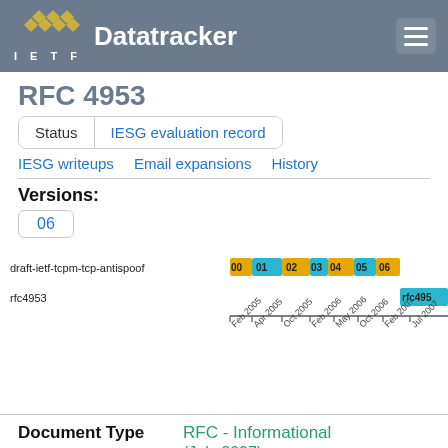IETF Datatracker
RFC 4953
Status | IESG evaluation record | IESG writeups | Email expansions | History
Versions:
06
[Figure (other): Timeline chart showing draft-ietf-tcpm-tcp-antispoof versions 00-06 and rfc4953, with colored bars (orange and cyan) across a time axis from Feb 2005 to Jul 2007]
Document Type
RFC - Informational (July 2007)